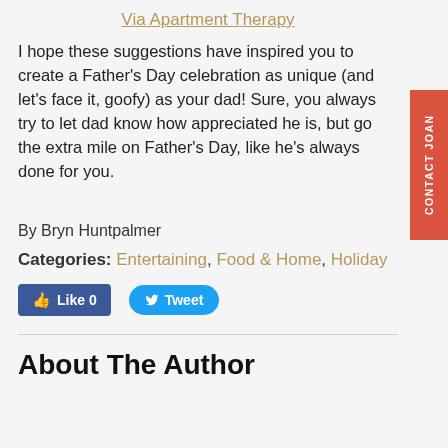Via Apartment Therapy
I hope these suggestions have inspired you to create a Father's Day celebration as unique (and let's face it, goofy) as your dad! Sure, you always try to let dad know how appreciated he is, but go the extra mile on Father's Day, like he's always done for you.
By Bryn Huntpalmer
Categories: Entertaining, Food & Home, Holiday
[Figure (screenshot): Facebook Like button showing 0 likes and Twitter Tweet button]
About The Author